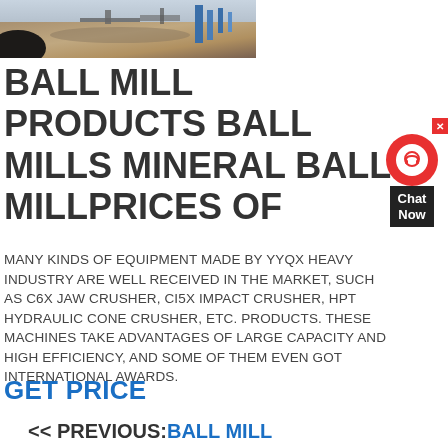[Figure (photo): Outdoor industrial/mining site photo showing heavy equipment and machinery on sandy ground with blue structures in background]
BALL MILL PRODUCTS BALL MILLS MINERAL BALL MILLPRICES OF
[Figure (other): Chat Now widget with red headset icon circle and dark Chat Now label box with X close button]
MANY KINDS OF EQUIPMENT MADE BY YYQX HEAVY INDUSTRY ARE WELL RECEIVED IN THE MARKET, SUCH AS C6X JAW CRUSHER, CI5X IMPACT CRUSHER, HPT HYDRAULIC CONE CRUSHER, ETC. PRODUCTS. THESE MACHINES TAKE ADVANTAGES OF LARGE CAPACITY AND HIGH EFFICIENCY, AND SOME OF THEM EVEN GOT INTERNATIONAL AWARDS.
GET PRICE
<< PREVIOUS:BALL MILL